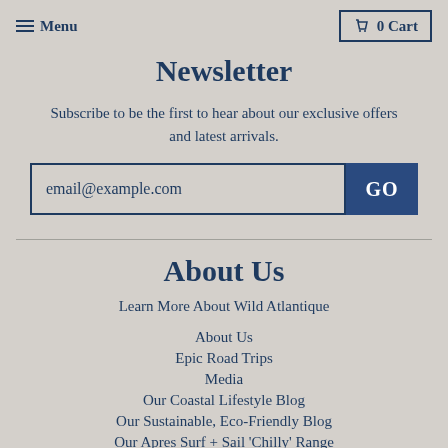Menu | 0 Cart
Newsletter
Subscribe to be the first to hear about our exclusive offers and latest arrivals.
email@example.com | GO
About Us
Learn More About Wild Atlantique
About Us
Epic Road Trips
Media
Our Coastal Lifestyle Blog
Our Sustainable, Eco-Friendly Blog
Our Apres Surf + Sail 'Chilly' Range
Our TENCEL® Apparel Range